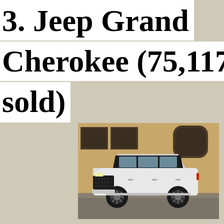3. Jeep Grand Cherokee (75,117 units sold)
[Figure (photo): A white Jeep Grand Cherokee SUV parked in front of a brick building with arched windows.]